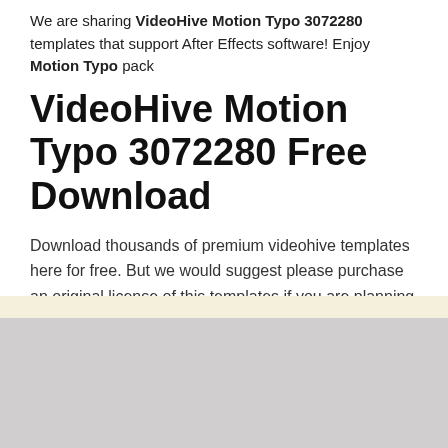We are sharing VideoHive Motion Typo 3072280 templates that support After Effects software! Enjoy Motion Typo pack
VideoHive Motion Typo 3072280 Free Download
Download thousands of premium videohive templates here for free. But we would suggest please purchase an original license of this templates if you are planning to use it in a production environment.